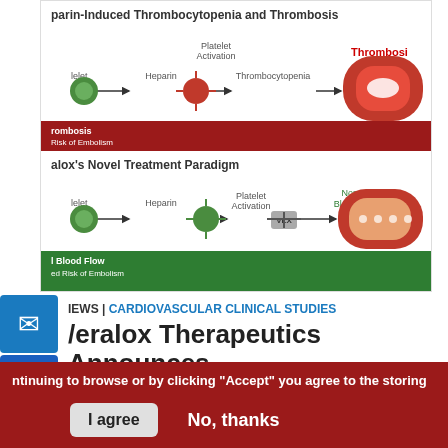[Figure (illustration): Two-panel medical diagram showing Heparin-Induced Thrombocytopenia and Thrombosis (top) and Veralox's Novel Treatment Paradigm (bottom). Top panel shows platelet activation pathway: Platelet -> Heparin -> Thrombocytopenia -> Thrombosis with red blood vessel and clot illustration, plus red banner showing Thrombosis Risk of Embolism. Bottom panel shows VLX drug blocking Platelet Activation, leading to Normal Blood Flow in orange blood vessel, plus green banner showing Normal Blood Flow Reduced Risk of Embolism.]
NEWS | CARDIOVASCULAR CLINICAL STUDIES
Veralox Therapeutics Announces
By continuing to browse or by clicking "Accept" you agree to the storing of cookies on your device to enhance your site experience and for analytical and marketing purposes.
To learn more about how we use cookies, please see our cookie policy.
I agree   No, thanks